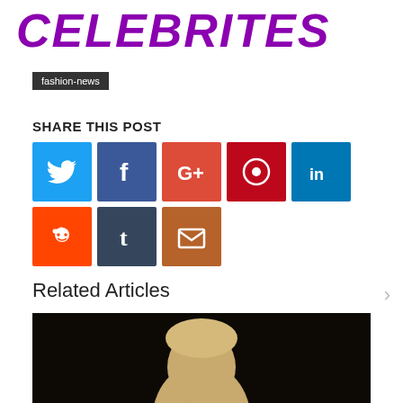CELEBRITES
fashion-news
SHARE THIS POST
[Figure (infographic): Social media share buttons: Twitter (blue), Facebook (dark blue), Google+ (red-orange), Pinterest (dark red), LinkedIn (blue), Reddit (orange), Tumblr (dark blue-gray), Email (brown-orange)]
Related Articles
[Figure (photo): Dark background photo showing top of a person's head with blond/grey hair]